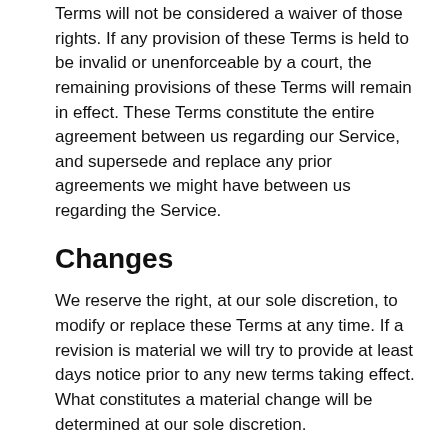Our failure to enforce any right or provision of these Terms will not be considered a waiver of those rights. If any provision of these Terms is held to be invalid or unenforceable by a court, the remaining provisions of these Terms will remain in effect. These Terms constitute the entire agreement between us regarding our Service, and supersede and replace any prior agreements we might have between us regarding the Service.
Changes
We reserve the right, at our sole discretion, to modify or replace these Terms at any time. If a revision is material we will try to provide at least days notice prior to any new terms taking effect. What constitutes a material change will be determined at our sole discretion.
By continuing to access or use our Service after those revisions become effective, you agree to be bound by the revised terms. If you do not agree to the new terms, please stop using the Service.